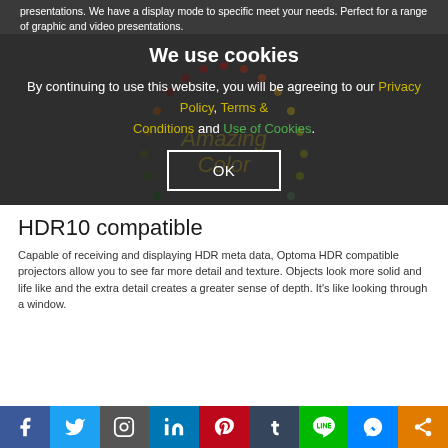presentations. We have a display mode to specific meet your needs. Perfect for a range of graphic and video presentations.
We use cookies
By continuing to use this website, you will be agreeing to our Privacy Policy, Terms & Conditions and Use of Cookies.
[Figure (illustration): Cookie consent OK button with color wheel illustration in background]
HDR10 compatible
Capable of receiving and displaying HDR meta data, Optoma HDR compatible projectors allow you to see far more detail and texture. Objects look more solid and life like and the extra detail creates a greater sense of depth. It's like looking through a window.
[Figure (other): Social media sharing bar with Facebook, Twitter, Instagram, LinkedIn, Pinterest, Tumblr, LINE, Messenger, Share icons]